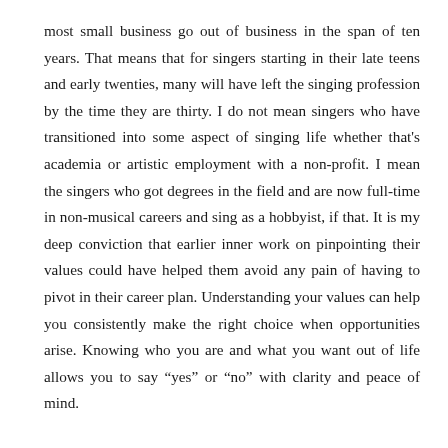most small business go out of business in the span of ten years. That means that for singers starting in their late teens and early twenties, many will have left the singing profession by the time they are thirty. I do not mean singers who have transitioned into some aspect of singing life whether that's academia or artistic employment with a non-profit. I mean the singers who got degrees in the field and are now full-time in non-musical careers and sing as a hobbyist, if that. It is my deep conviction that earlier inner work on pinpointing their values could have helped them avoid any pain of having to pivot in their career plan. Understanding your values can help you consistently make the right choice when opportunities arise. Knowing who you are and what you want out of life allows you to say “yes” or “no” with clarity and peace of mind.